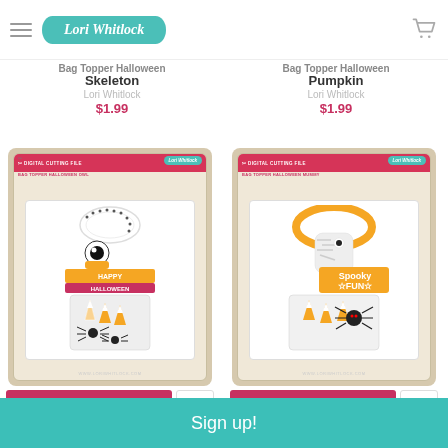Lori Whitlock
Bag Topper Halloween Skeleton
Lori Whitlock
$1.99
Bag Topper Halloween Pumpkin
Lori Whitlock
$1.99
[Figure (photo): Product image of Bag Topper Halloween Owl cutting file — a craft bag topper with owl design, candy corn, and spiders inside a clear bag, displayed on a tan product card]
[Figure (photo): Product image of Bag Topper Halloween Mummy cutting file — an orange pumpkin-shaped bag topper with mummy design and 'Spooky Fun' text, candy corn and spider inside a clear bag, displayed on a tan product card]
CHOOSE OPTIONS
CHOOSE OPTIONS
Sign up!